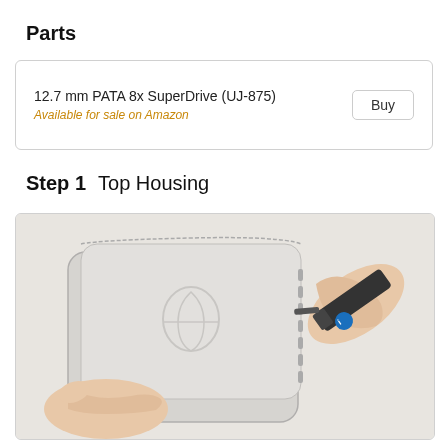Parts
| Part | Action |
| --- | --- |
| 12.7 mm PATA 8x SuperDrive (UJ-875)
Available for sale on Amazon | Buy |
Step 1    Top Housing
[Figure (photo): A person holding a Mac mini with the top housing being removed using an iFixit opening tool inserted into the side vent slots. The top cover is a light grey plastic panel with the Apple logo imprint. The hands are shown from below and to the right of the device.]